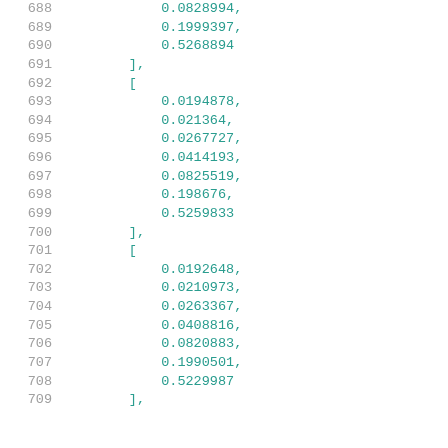Code listing lines 688-709 showing numerical array data with line numbers. Lines 688-691: end of array with 0.0828994, 0.1999397, 0.5268894, ], Lines 692-700: array [0.0194878, 0.021364, 0.0267727, 0.0414193, 0.0825519, 0.198676, 0.5259833], Lines 701-709: array [0.0192648, 0.0210973, 0.0263367, 0.0408816, 0.0820883, 0.1990501, 0.5229987],